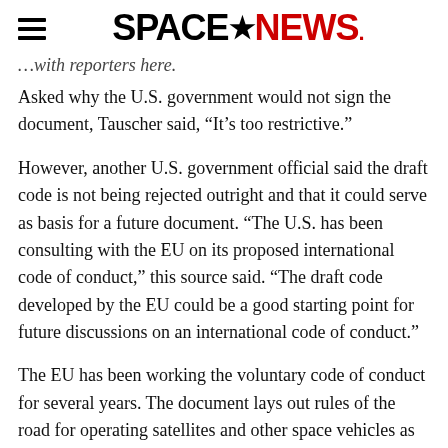SPACENEWS
…with reporters here.
Asked why the U.S. government would not sign the document, Tauscher said, “It’s too restrictive.”
However, another U.S. government official said the draft code is not being rejected outright and that it could serve as basis for a future document. “The U.S. has been consulting with the EU on its proposed international code of conduct,” this source said. “The draft code developed by the EU could be a good starting point for future discussions on an international code of conduct.”
The EU has been working the voluntary code of conduct for several years. The document lays out rules of the road for operating satellites and other space vehicles as space becomes increasingly congested, the idea being to